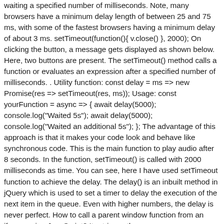waiting a specified number of milliseconds. Note, many browsers have a minimum delay length of between 25 and 75 ms, with some of the fastest browsers having a minimum delay of about 3 ms. setTimeout(function(){ v.close() }, 2000); On clicking the button, a message gets displayed as shown below. Here, two buttons are present. The setTimeout() method calls a function or evaluates an expression after a specified number of milliseconds. . Utility function: const delay = ms => new Promise(res => setTimeout(res, ms)); Usage: const yourFunction = async => { await delay(5000); console.log("Waited 5s"); await delay(5000); console.log("Waited an additional 5s"); }; The advantage of this approach is that it makes your code look and behave like synchronous code. This is the main function to play audio after 8 seconds. In the function, setTimeout() is called with 2000 milliseconds as time. You can see, here I have used setTimeout function to achieve the delay. The delay() is an inbuilt method in jQuery which is used to set a timer to delay the execution of the next item in the queue. Even with higher numbers, the delay is never perfect. How to call a parent window function from an iframe using JavaScript? It retrieves the